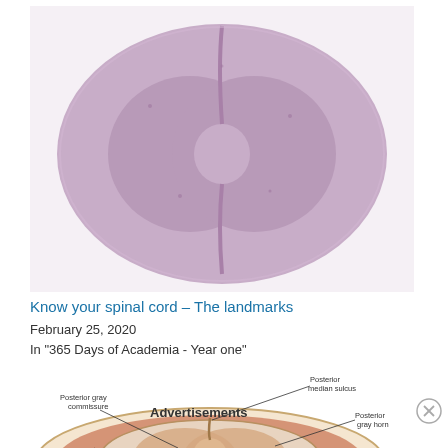[Figure (photo): Histological cross-section of spinal cord stained with H&E, showing butterfly-shaped gray matter and surrounding white matter in purple/lavender color on white background.]
Know your spinal cord – The landmarks
February 25, 2020
In "365 Days of Academia - Year one"
[Figure (illustration): Anatomical illustration showing a cross-section of spinal cord with labeled structures: Posterior gray commissure, Posterior median sulcus, Posterior gray horn, and Dura mater. Partially visible, cut off at bottom.]
Advertisements